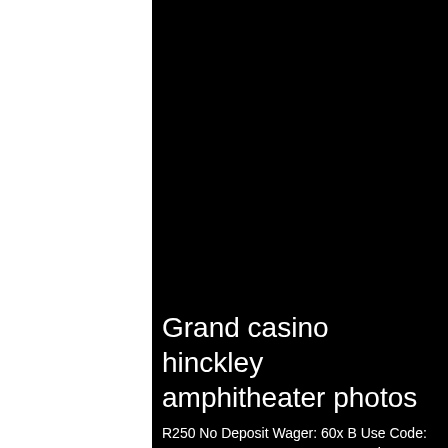[Figure (photo): Large black background image occupying the right portion of the page, representing a dark/night photo of Grand casino hinckley amphitheater]
Grand casino hinckley amphitheater photos
R250 No Deposit Wager: 60x B Use Code: JCNDREWARDS. R200 No Deposit Wager: 70x B Use Code: NDC200, grand casino hinckley amphitheater photos